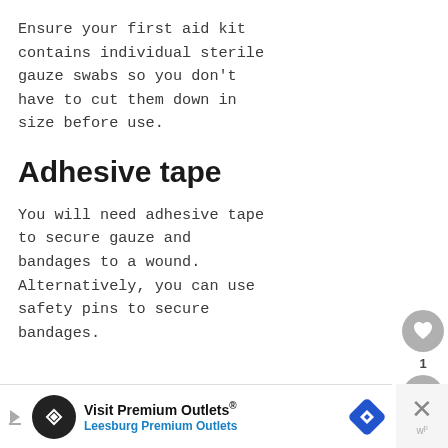Ensure your first aid kit contains individual sterile gauze swabs so you don't have to cut them down in size before use.
Adhesive tape
You will need adhesive tape to secure gauze and bandages to a wound. Alternatively, you can use safety pins to secure bandages.
[Figure (screenshot): Advertisement banner: Visit Premium Outlets® — Leesburg Premium Outlets, with logo circle, play icon, navigation diamond icon, and a close button.]